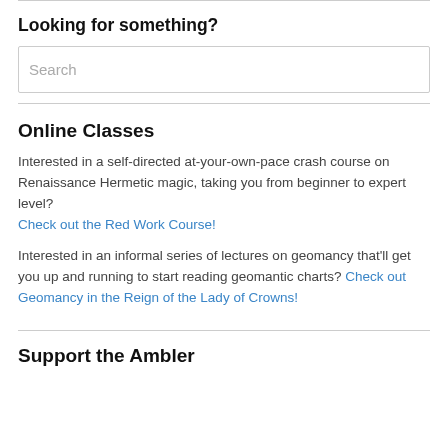Looking for something?
Search
Online Classes
Interested in a self-directed at-your-own-pace crash course on Renaissance Hermetic magic, taking you from beginner to expert level? Check out the Red Work Course!
Interested in an informal series of lectures on geomancy that'll get you up and running to start reading geomantic charts? Check out Geomancy in the Reign of the Lady of Crowns!
Support the Ambler